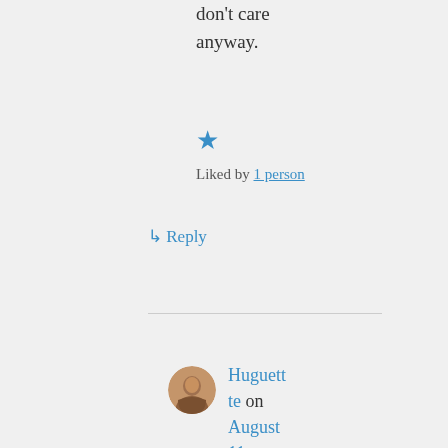don't care anyway.
★ Liked by 1 person
↳ Reply
Huguette on August 11, 2019 at 6:20 pm
yes this is true,